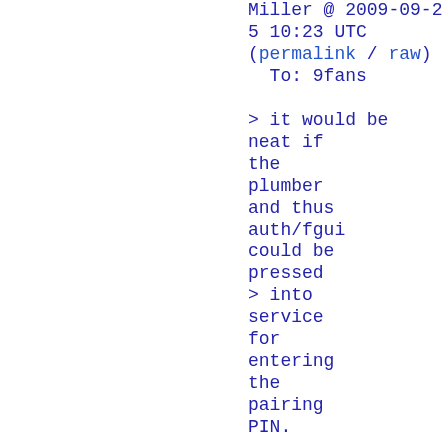Miller @ 2009-09-25 10:23 UTC (permalink / raw)
  To: 9fans

> it would be neat if the plumber and thus auth/fgui could be pressed
> into service for entering the pairing PIN.

I don't quite see the connection
(permalink / raw)